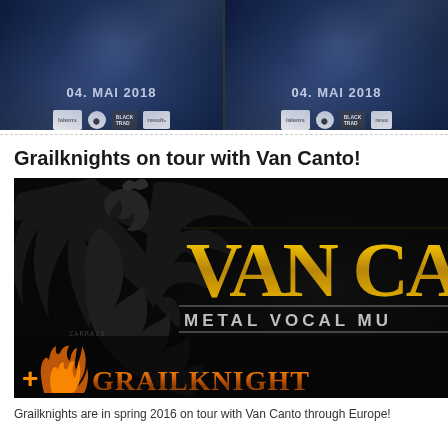[Figure (photo): Two concert event promotional panels side by side showing '04. MAI 2018' dates with sponsor logos on a dark blue swirling background]
Grailknights on tour with Van Canto!
[Figure (photo): Van Canto 'Metal Vocal Music' tour poster featuring a dragon silhouette on the left and gold stylized Van Canto text, with Grailknights name at the bottom in orange]
Grailknights are in spring 2016 on tour with Van Canto through Europe!